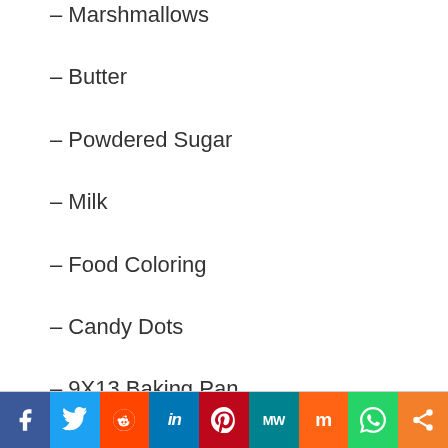– Marshmallows
– Butter
– Powdered Sugar
– Milk
– Food Coloring
– Candy Dots
– 9X13 Baking Pan
f | Twitter | Reddit | in | Pinterest | MW | Mix | WhatsApp | Share